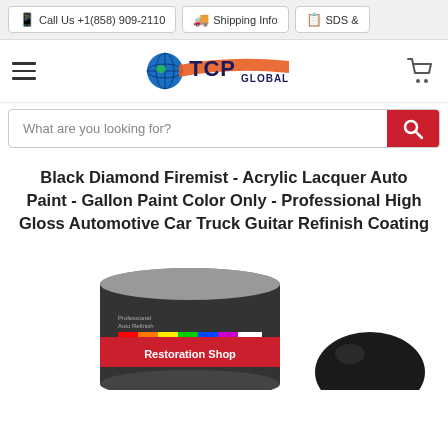Call Us +1(858) 909-2110 | Shipping Info | SDS &
[Figure (logo): TCP Global logo with globe icon and orange swoosh]
What are you looking for?
Black Diamond Firemist - Acrylic Lacquer Auto Paint - Gallon Paint Color Only - Professional High Gloss Automotive Car Truck Guitar Refinish Coating
[Figure (photo): Black paint can labeled Restoration Shop with a black paint swatch/ball beside it]